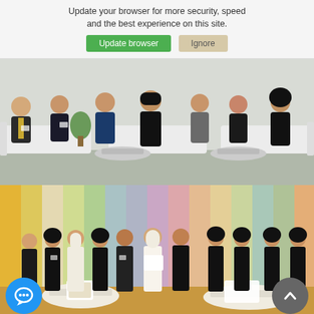Update your browser for more security, speed and the best experience on this site.
[Figure (photo): Group of seven people seated in a formal meeting/panel setting in a modern room with white furniture. They appear to be at a conference or forum.]
[Figure (photo): Award ceremony photo showing a group of people in traditional Gulf attire standing in front of colorful vertical banners. Two people in the center are shaking hands and holding a certificate/award. A white round table is visible.]
[Figure (photo): Partial bottom strip showing what appears to be an automotive or industrial display, cropped.]